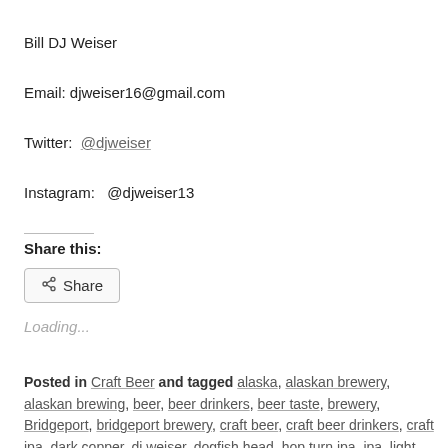Bill DJ Weiser
Email: djweiser16@gmail.com
Twitter:  @djweiser
Instagram:  @djweiser13
Share this:
Share
Loading...
Posted in Craft Beer and tagged alaska, alaskan brewery, alaskan brewing, beer, beer drinkers, beer taste, brewery, Bridgeport, bridgeport brewery, craft beer, craft beer drinkers, craft ipa, dark copper, dj weiser, dogfish head, hop turn ipa, ipa, light amber color,